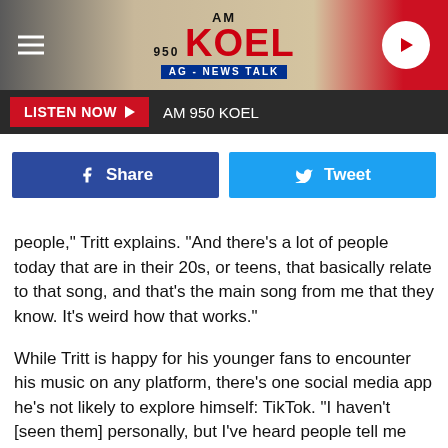[Figure (logo): AM 950 KOEL AG-News Talk radio station header banner with hamburger menu icon on left, logo in center, and play button on right]
[Figure (screenshot): Listen Now button bar with red button and AM 950 KOEL station name on dark background]
[Figure (screenshot): Facebook Share and Twitter Tweet buttons side by side]
people," Tritt explains. "And there's a lot of people today that are in their 20s, or teens, that basically relate to that song, and that's the main song from me that they know. It's weird how that works."
While Tritt is happy for his younger fans to encounter his music on any platform, there's one social media app he's not likely to explore himself: TikTok. "I haven't [seen them] personally, but I've heard people tell me that [my songs have] been used [on TikTok]," the singer shares.
"I haven't personally seen them. I've got all the social media